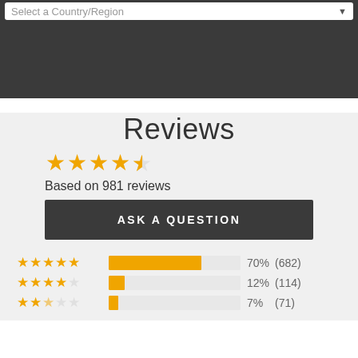Select a Country/Region
Reviews
Based on 981 reviews
ASK A QUESTION
[Figure (bar-chart): Star rating breakdown]